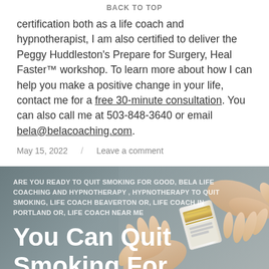BACK TO TOP
certification both as a life coach and hypnotherapist, I am also certified to deliver the Peggy Huddleston's Prepare for Surgery, Heal Faster™ workshop. To learn more about how I can help you make a positive change in your life, contact me for a free 30-minute consultation. You can also call me at 503-848-3640 or email bela@belacoaching.com.
May 15, 2022    Leave a comment
ARE YOU READY TO QUIT SMOKING FOR GOOD, BELA LIFE COACHING AND HYPNOTHERAPY , HYPNOTHERAPY TO QUIT SMOKING, LIFE COACH BEAVERTON OR, LIFE COACH IN PORTLAND OR, LIFE COACH NEAR ME
You Can Quit Smoking For Good
[Figure (photo): Two hands passing a cigarette pack between them, on a grey background]